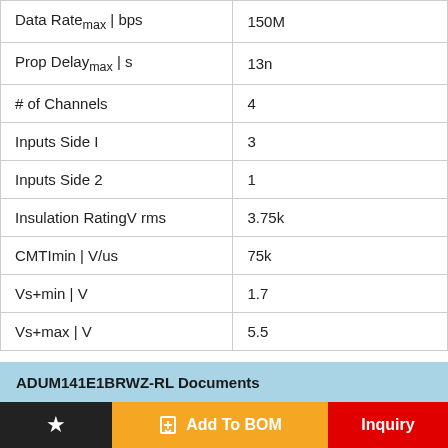| Parameter | Value |
| --- | --- |
| Data Ratemax | bps | 150M |
| Prop Delaymax | s | 13n |
| # of Channels | 4 |
| Inputs Side I | 3 |
| Inputs Side 2 | 1 |
| Insulation RatingV rms | 3.75k |
| CMTImin | V/us | 75k |
| Vs+min | V | 1.7 |
| Vs+max | V | 5.5 |
ADUM141E1BRWZ-RL Documents